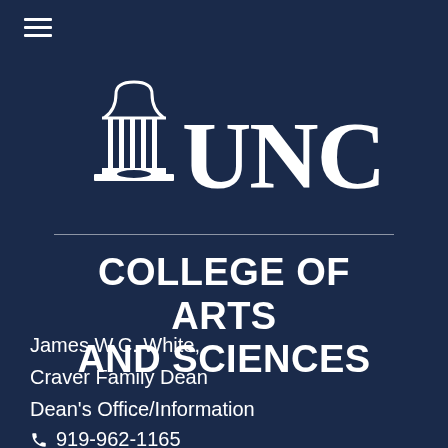[Figure (logo): Hamburger menu icon (three horizontal lines) in top left corner]
[Figure (logo): UNC logo with Old Well icon and letters UNC in white on dark navy background, followed by a horizontal divider line]
COLLEGE OF ARTS AND SCIENCES
James W.C. White,
Craver Family Dean
Dean's Office/Information
919-962-1165